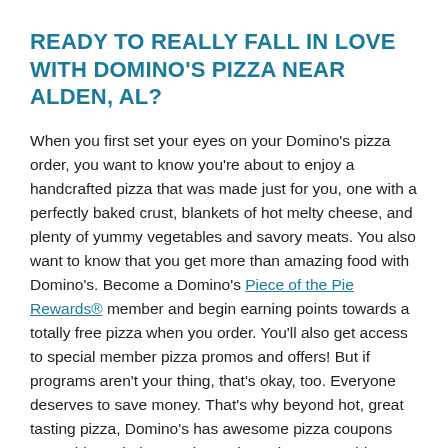READY TO REALLY FALL IN LOVE WITH DOMINO'S PIZZA NEAR ALDEN, AL?
When you first set your eyes on your Domino's pizza order, you want to know you're about to enjoy a handcrafted pizza that was made just for you, one with a perfectly baked crust, blankets of hot melty cheese, and plenty of yummy vegetables and savory meats. You also want to know that you get more than amazing food with Domino's. Become a Domino's Piece of the Pie Rewards® member and begin earning points towards a totally free pizza when you order. You'll also get access to special member pizza promos and offers! But if programs aren't your thing, that's okay, too. Everyone deserves to save money. That's why beyond hot, great tasting pizza, Domino's has awesome pizza coupons near Alden. Find a Domino's pizza place near Alden to view the most up-to-date pizza coupons and deals. Pick from a combo deal, mix and match deal, carryout offer, and more! Your local store's pizza offers are updated regularly. Domino's is your pizza place near Alden! Get the food you want, how and when you want it. So, are you ready to calm those tummy rumbles? Place your order for crazy, curbing wings, sandwiches